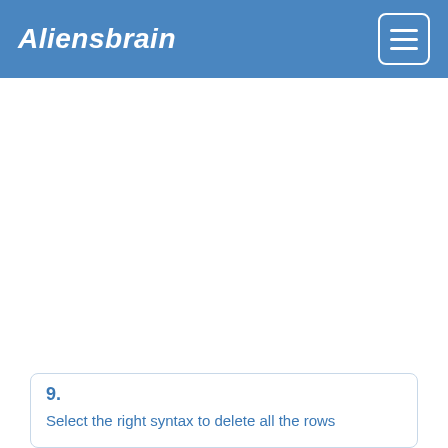Aliensbrain
9. Select the right syntax to delete all the rows